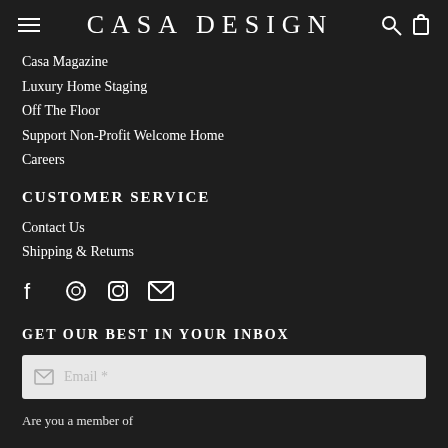CASA DESIGN
Casa Magazine
Luxury Home Staging
Off The Floor
Support Non-Profit Welcome Home
Careers
CUSTOMER SERVICE
Contact Us
Shipping & Returns
[Figure (other): Social media icons: Facebook, Pinterest, Instagram, Email]
GET OUR BEST IN YOUR INBOX
Email *
Are you a member of